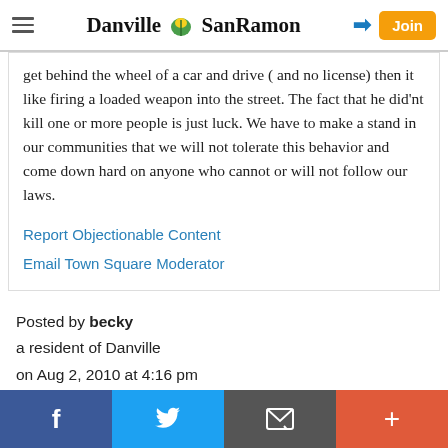Danville SanRamon
get behind the wheel of a car and drive ( and no license) then it like firing a loaded weapon into the street. The fact that he did'nt kill one or more people is just luck. We have to make a stand in our communities that we will not tolerate this behavior and come down hard on anyone who cannot or will not follow our laws.
Report Objectionable Content
Email Town Square Moderator
Posted by becky
a resident of Danville
on Aug 2, 2010 at 4:16 pm
f  Twitter  Email  +